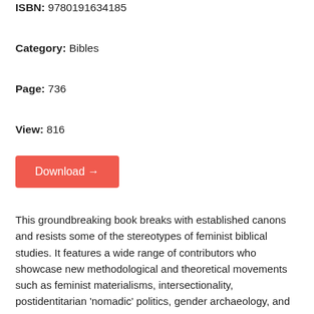ISBN: 9780191634185
Category: Bibles
Page: 736
View: 816
Download →
This groundbreaking book breaks with established canons and resists some of the stereotypes of feminist biblical studies. It features a wide range of contributors who showcase new methodological and theoretical movements such as feminist materialisms, intersectionality, postidentitarian 'nomadic' politics, gender archaeology, and lived religion, and theories of the human and the posthuman. The Bible and Feminism: Remapping the Field engages a range of social and political issues, including migration and